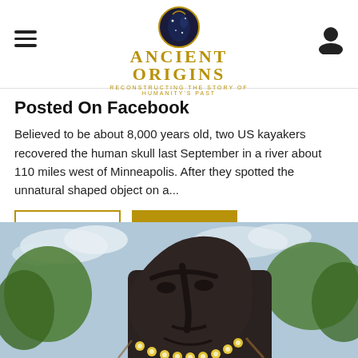Ancient Origins — Reconstructing the story of humanity's past
Posted On Facebook
Believed to be about 8,000 years old, two US kayakers recovered the human skull last September in a river about 110 miles west of Minneapolis. After they spotted the unnatural shaped object on a...
[Figure (photo): Close-up photo of a dark stone Easter Island Moai statue wearing a yellow flower lei, with trees and cloudy sky in the background]